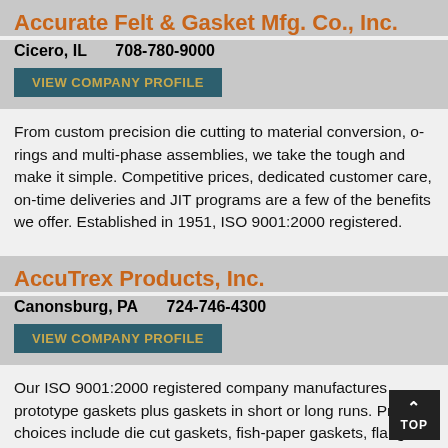Accurate Felt & Gasket Mfg. Co., Inc.
Cicero, IL    708-780-9000
VIEW COMPANY PROFILE
From custom precision die cutting to material conversion, o-rings and multi-phase assemblies, we take the tough and make it simple. Competitive prices, dedicated customer care, on-time deliveries and JIT programs are a few of the benefits we offer. Established in 1951, ISO 9001:2000 registered.
AccuTrex Products, Inc.
Canonsburg, PA    724-746-4300
VIEW COMPANY PROFILE
Our ISO 9001:2000 registered company manufactures prototype gaskets plus gaskets in short or long runs. Product choices include die cut gaskets, fish-paper gaskets, flange gaskets, graphite gaskets, non-asbestos gaskets, plastic gaskets, rubber gaskets, spiral wound gaskets, Teflon&reg;